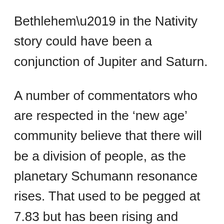Bethlehem’ in the Nativity story could have been a conjunction of Jupiter and Saturn.
A number of commentators who are respected in the ‘new age’ community believe that there will be a division of people, as the planetary Schumann resonance rises. That used to be pegged at 7.83 but has been rising and expected by some to settle permanently at over